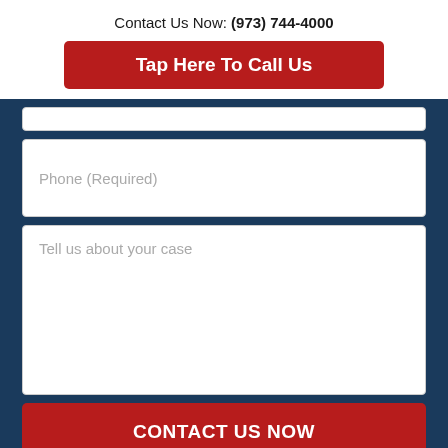Contact Us Now: (973) 744-4000
Tap Here To Call Us
Phone (Required)
Tell us about your case
CONTACT US NOW
Search